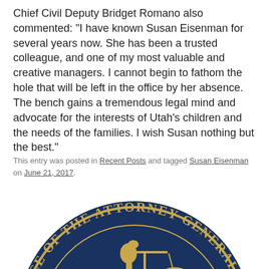Chief Civil Deputy Bridget Romano also commented: "I have known Susan Eisenman for several years now. She has been a trusted colleague, and one of my most valuable and creative managers. I cannot begin to fathom the hole that will be left in the office by her absence. The bench gains a tremendous legal mind and advocate for the interests of Utah's children and the needs of the families. I wish Susan nothing but the best."
This entry was posted in Recent Posts and tagged Susan Eisenman on June 21, 2017.
[Figure (logo): Office of the Attorney General official seal — circular dark navy blue seal with gold lettering reading 'OFFICE OF THE ATTORNEY GENERAL' around the border, and a gold figure of Justice holding scales in the center.]